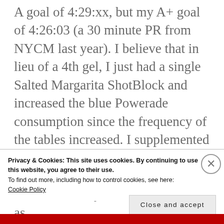A goal of 4:29:xx, but my A+ goal of 4:26:03 (a 30 minute PR from NYCM last year). I believe that in lieu of a 4th gel, I just had a single Salted Margarita ShotBlock and increased the blue Powerade consumption since the frequency of the tables increased. I supplemented this with a banana from a nice lady around Mile 22. I turned down the beer and other junk food on offer, as
Privacy & Cookies: This site uses cookies. By continuing to use this website, you agree to their use.
To find out more, including how to control cookies, see here:
Cookie Policy
Close and accept